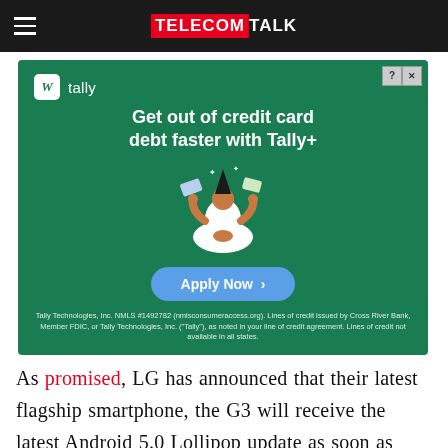TELECOMTALK
[Figure (illustration): Tally advertisement banner with green background. Shows tally brand logo (stylized 'W' icon and 'tally' text), headline 'Get out of credit card debt faster with Tally+', illustration of a person meditating with credit cards, an 'Apply Now' button, and small disclaimer text.]
As promised, LG has announced that their latest flagship smartphone, the G3 will receive the latest Android 5.0 Lollipop update as soon as next week. The update will start rolling out